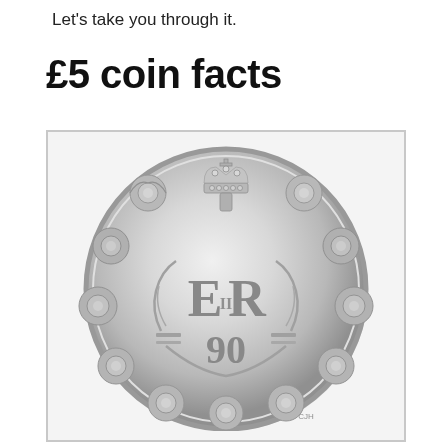Let's take you through it.
£5 coin facts
[Figure (photo): A silver £5 commemorative coin featuring the Royal Cypher 'E II R' with the number 90 beneath it, surrounded by a wreath of roses and topped with a crown. The coin commemorates the 90th birthday of Queen Elizabeth II.]